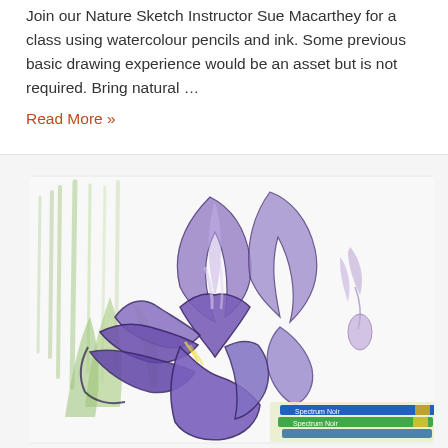Join our Nature Sketch Instructor Sue Macarthey for a class using watercolour pencils and ink. Some previous basic drawing experience would be an asset but is not required. Bring natural ...
Read More »
[Figure (photo): A coloured pencil drawing of a purple iris flower in progress, with green background strokes. Several coloured pencils (including blue and green Spectrum Noir markers) are visible in the bottom right corner of the image.]